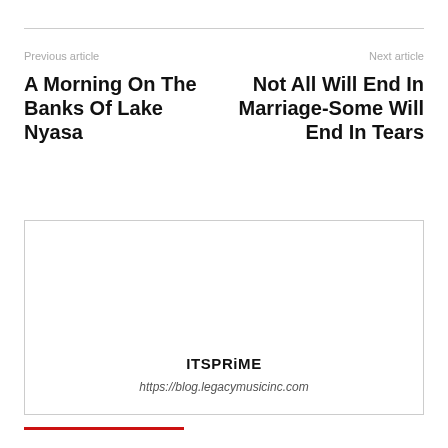Previous article
Next article
A Morning On The Banks Of Lake Nyasa
Not All Will End In Marriage-Some Will End In Tears
ITSPRiME
https://blog.legacymusicinc.com